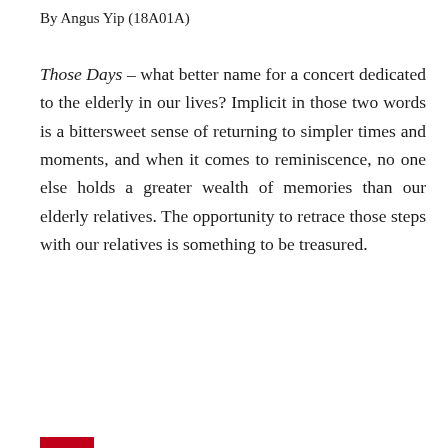By Angus Yip (18A01A)
Those Days – what better name for a concert dedicated to the elderly in our lives? Implicit in those two words is a bittersweet sense of returning to simpler times and moments, and when it comes to reminiscence, no one else holds a greater wealth of memories than our elderly relatives. The opportunity to retrace those steps with our relatives is something to be treasured.